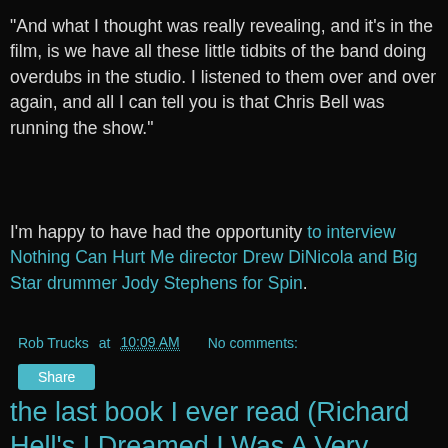"And what I thought was really revealing, and it's in the film, is we have all these little tidbits of the band doing overdubs in the studio. I listened to them over and over again, and all I can tell you is that Chris Bell was running the show."
I'm happy to have had the opportunity to interview Nothing Can Hurt Me director Drew DiNicola and Big Star drummer Jody Stephens for Spin.
Rob Trucks at 10:09 AM   No comments:
Share
the last book I ever read (Richard Hell's I Dreamed I Was A Very Clean Tramp,